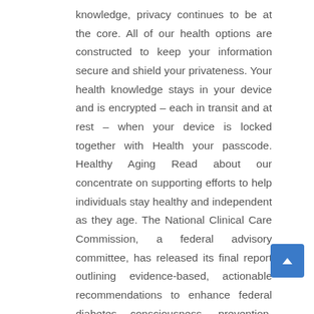knowledge, privacy continues to be at the core. All of our health options are constructed to keep your information secure and shield your privateness. Your health knowledge stays in your device and is encrypted – each in transit and at rest – when your device is locked together with Health your passcode. Healthy Aging Read about our concentrate on supporting efforts to help individuals stay healthy and independent as they age. The National Clinical Care Commission, a federal advisory committee, has released its final report outlining evidence-based, actionable recommendations to enhance federal diabetes consciousness, prevention, and remedy packages.
A research effort to revolutionize how we improve health and treat illness. A new science agency proposed by President Joseph Biden as a part of NIH to drive biomedical breakthroughs and provide transformative options for all patients. NIH is the largest source of